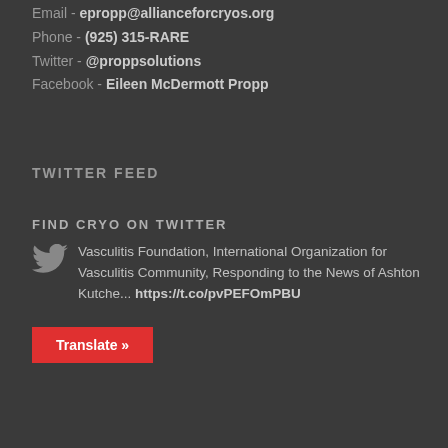Email - epropp@allianceforcryos.org
Phone - (925) 315-RARE
Twitter - @proppsolutions
Facebook - Eileen McDermott Propp
TWITTER FEED
FIND CRYO ON TWITTER
Vasculitis Foundation, International Organization for Vasculitis Community, Responding to the News of Ashton Kutche... https://t.co/pvPEFOmPBU
Translate »